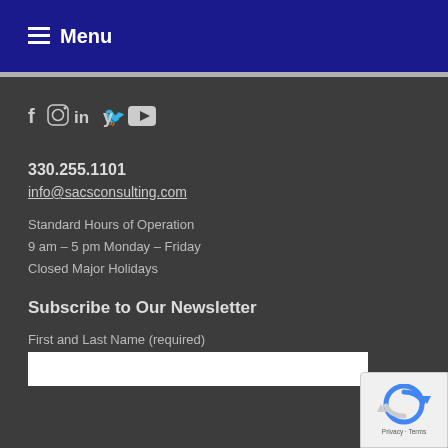Menu
[Figure (infographic): Social media icons row: Facebook, Instagram, LinkedIn, Twitter, YouTube]
330.255.1101
info@sacsconsulting.com
Standard Hours of Operation
9 am – 5 pm Monday – Friday
Closed Major Holidays
Subscribe to Our Newsletter
First and Last Name (required)
[Figure (other): reCAPTCHA badge with Privacy and Terms text]